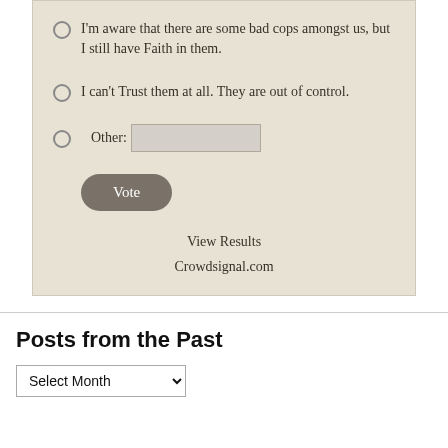I'm aware that there are some bad cops amongst us, but I still have Faith in them.
I can't Trust them at all. They are out of control.
Other:
Vote
View Results
Crowdsignal.com
Posts from the Past
Select Month